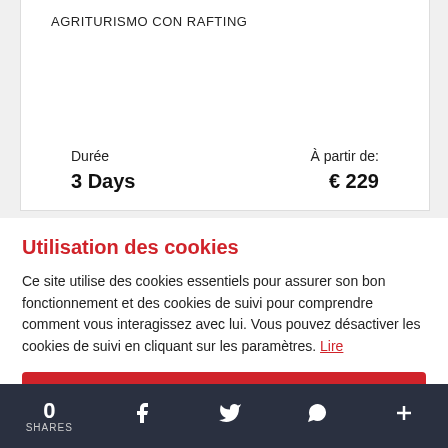AGRITURISMO CON RAFTING
Durée
3 Days
À partir de:
€ 229
Utilisation des cookies
Ce site utilise des cookies essentiels pour assurer son bon fonctionnement et des cookies de suivi pour comprendre comment vous interagissez avec lui. Vous pouvez désactiver les cookies de suivi en cliquant sur les paramètres. Lire
Accepter tous les cookies
0 SHARES